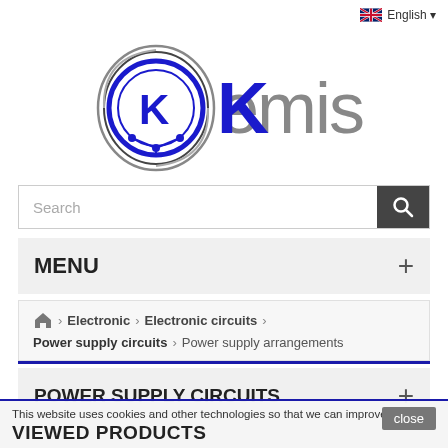[Figure (logo): Kemisa website logo with circular electronic circuit icon and company name in blue/grey]
English
Search
MENU +
Home > Electronic > Electronic circuits > Power supply circuits > Power supply arrangements
POWER SUPPLY CIRCUITS +
This website uses cookies and other technologies so that we can improve your
VIEWED PRODUCTS